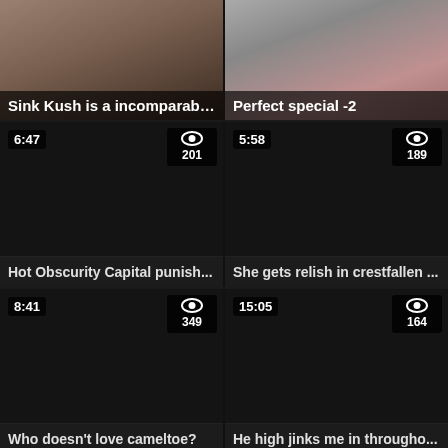[Figure (screenshot): Video thumbnail top-left: Sink Kush is a incomparable ... with duration and view overlay]
Sink Kush is a incomparable ...
[Figure (screenshot): Video thumbnail top-right: Perfect special -2]
Perfect special -2
[Figure (screenshot): Dark video thumbnail, duration 6:47, views 201]
Hot Obscurity Capital punish...
[Figure (screenshot): Dark video thumbnail, duration 5:58, views 189]
She gets relish in crestfallen ...
[Figure (screenshot): Dark video thumbnail, duration 8:41, views 349]
Who doesn't love cameltoe?
[Figure (screenshot): Dark video thumbnail, duration 15:05, views 164]
He high jinks me in througho...
[Figure (screenshot): Dark video thumbnail, duration 12:39, views 694]
[Figure (screenshot): Dark video thumbnail, duration 4:13, views 1628 with pink icon]